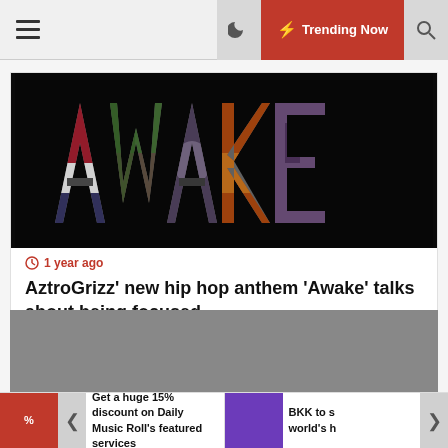☰  🌙  ⚡ Trending Now  🔍
[Figure (photo): Dark background with the word AWAKE formed from collaged images inside each letter]
🕐 1 year ago
AztroGrizz' new hip hop anthem 'Awake' talks about being focused
[Figure (photo): Grey placeholder image block]
Get a huge 15% discount on Daily Music Roll's featured services
BKK to s world's h